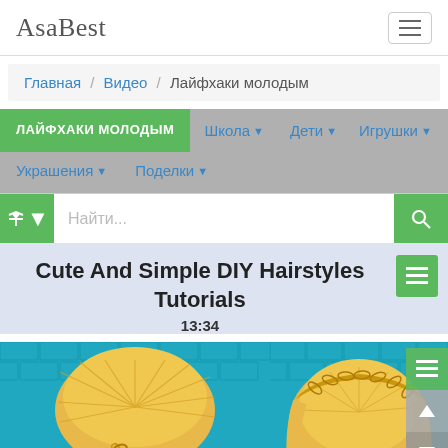AsaBest
Главная / Видео / Лайфхаки молодым
ЛАЙФХАКИ МОЛОДЫМ
Школа ▼   Дети ▼   Игрушки ▼
Украшения ▼   Поделки ▼
Найти...
Cute And Simple DIY Hairstyles Tutorials
13:34
[Figure (photo): Two photos of blonde braided hairstyles on a teal/blue brick background. Left shows an updo with a braid. Right shows a bohemian crown braid.]